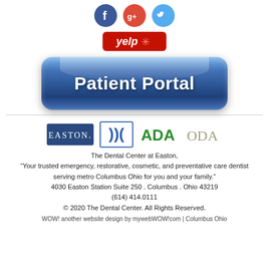[Figure (logo): Social media icons: Facebook (blue circle with f), Google+ (red circle with g+), Twitter (blue circle with bird)]
[Figure (logo): Yelp button: red rounded rectangle with 'yelp*' text in white]
[Figure (logo): Patient Portal button: blue rounded rectangle with white bold text 'Patient Portal']
[Figure (logo): Four logos: EASTON. (dark blue box), DC (interlocking letters, blue outlined box), ADA (green letters), ODA (gray/beige letters)]
The Dental Center at Easton,
“Your trusted emergency, restorative, cosmetic, and preventative care dentist serving metro Columbus Ohio for you and your family.”
4030 Easton Station Suite 250 . Columbus . Ohio 43219
(614) 414.0111
© 2020 The Dental Center. All Rights Reserved.
WOW! another website design by mywebWOW!com | Columbus Ohio